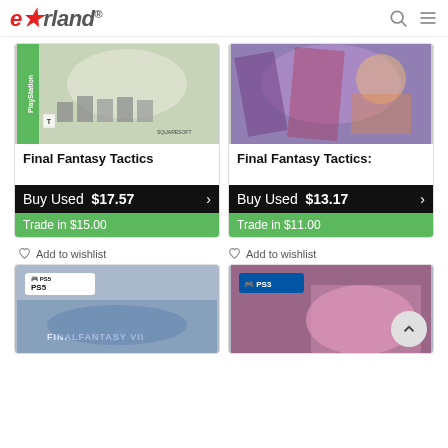eStarland
[Figure (screenshot): Game cover for Final Fantasy Tactics - PlayStation game box art showing soldiers on horseback in a foggy landscape, with PlayStation logo and Squaresoft branding]
Final Fantasy Tactics
Buy Used  $17.57
Trade in $15.00
Add to wishlist
[Figure (screenshot): Game cover for Final Fantasy Tactics: - showing colorful fantasy characters including warriors and mages in an artistic illustration]
Final Fantasy Tactics:
Buy Used  $13.17
Trade in $11.00
Add to wishlist
[Figure (screenshot): PS5 game case for Final Fantasy VII showing blue-toned city landscape]
[Figure (screenshot): PS3 game case for a Final Fantasy game showing a pink-haired character]